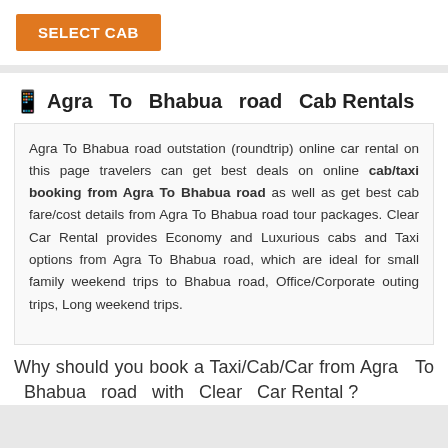[Figure (other): Orange SELECT CAB button]
🏙 Agra To Bhabua road Cab Rentals
Agra To Bhabua road outstation (roundtrip) online car rental on this page travelers can get best deals on online cab/taxi booking from Agra To Bhabua road as well as get best cab fare/cost details from Agra To Bhabua road tour packages. Clear Car Rental provides Economy and Luxurious cabs and Taxi options from Agra To Bhabua road, which are ideal for small family weekend trips to Bhabua road, Office/Corporate outing trips, Long weekend trips.
Why should you book a Taxi/Cab/Car from Agra To Bhabua road with Clear Car Rental ?